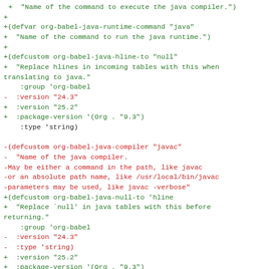Code diff showing changes to org-babel-java Emacs Lisp source file, including additions of defvar, defcustom definitions and modifications to version numbers and package versions.